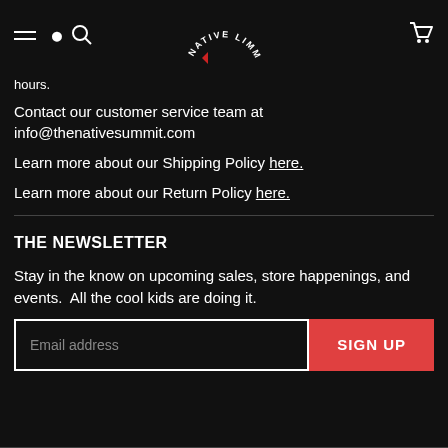Native Limwos — navigation bar with hamburger menu, search, logo, and cart
hours.
Contact our customer service team at info@thenativesummit.com
Learn more about our Shipping Policy here.
Learn more about our Return Policy here.
THE NEWSLETTER
Stay in the know on upcoming sales, store happenings, and events.  All the cool kids are doing it.
Email address [input field] SIGN UP [button]